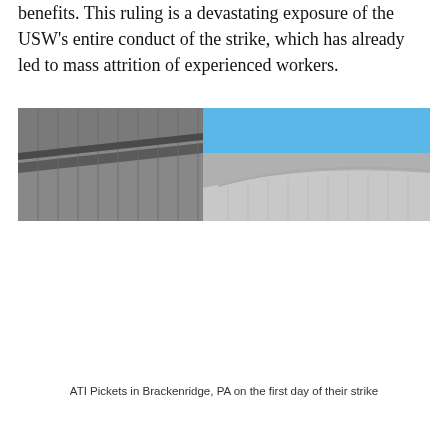benefits. This ruling is a devastating exposure of the USW's entire conduct of the strike, which has already led to mass attrition of experienced workers.
[Figure (photo): Photograph of industrial or institutional building rooftops against a bright blue sky, taken at Brackenridge, PA, showing angular metal and concrete roof structures.]
ATI Pickets in Brackenridge, PA on the first day of their strike